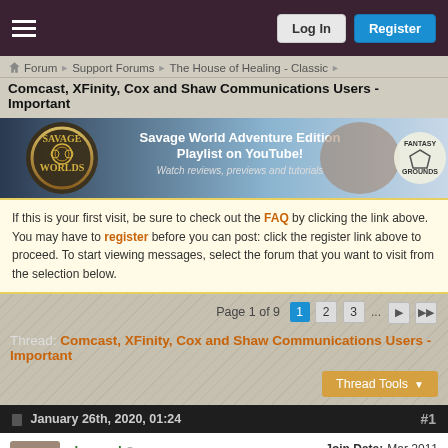Log In | Register
Forum › Support Forums › The House of Healing - Classic
Comcast, XFinity, Cox and Shaw Communications Users - Important
[Figure (illustration): Savage Worlds Adventure Edition banner ad - Playlist on YouTube! Watch reviews, previews and tutorials]
If this is your first visit, be sure to check out the FAQ by clicking the link above. You may have to register before you can post: click the register link above to proceed. To start viewing messages, select the forum that you want to visit from the selection below.
Page 1 of 9  1 2 3 ...
Thread: Comcast, XFinity, Cox and Shaw Communications Users - Important
Thread Tools
January 26th, 2020, 01:24  #1
damned  Immortal  Join Date: Mar 2011  Location: Australia